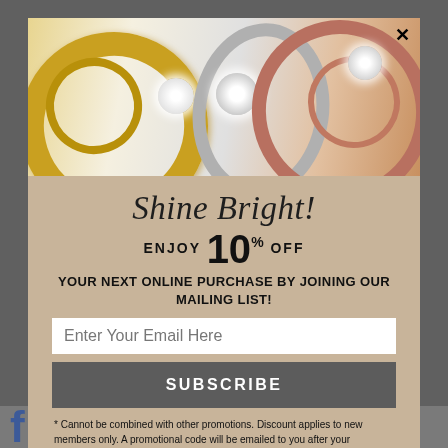[Figure (photo): Modal popup showing three diamond rings on marble background — yellow gold ring on left, white gold heart-diamond ring in center, rose gold twisted band with diamonds on right]
Shine Bright!
ENJOY 10% OFF YOUR NEXT ONLINE PURCHASE BY JOINING OUR MAILING LIST!
Enter Your Email Here
SUBSCRIBE
* Cannot be combined with other promotions. Discount applies to new members only. A promotional code will be emailed to you after your subscription.